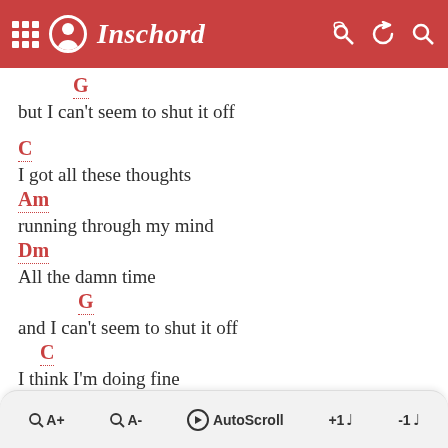Inschord
G
but I can't seem to shut it off
C
I got all these thoughts
Am
running through my mind
Dm
All the damn time
G
and I can't seem to shut it off
C
I think I'm doing fine
Am
most of the time
Dm
Q A+   Q A-   AutoScroll   +1   -1